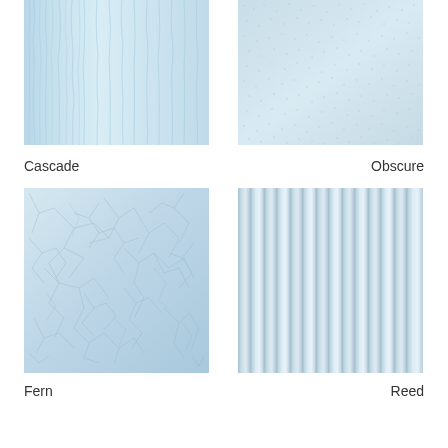[Figure (photo): Cascade glass texture - shows vertical streaky/rippled pattern, light blue-tinted frosted glass]
[Figure (photo): Obscure glass texture - shows uniform fine granular/hammered pattern, light blue-tinted frosted glass]
Cascade
Obscure
[Figure (photo): Fern glass texture - shows irregular crystalline/fractured ice-like pattern, light blue-tinted frosted glass]
[Figure (photo): Reed glass texture - shows vertical parallel ribbed/fluted pattern, light blue-tinted frosted glass]
Fern
Reed